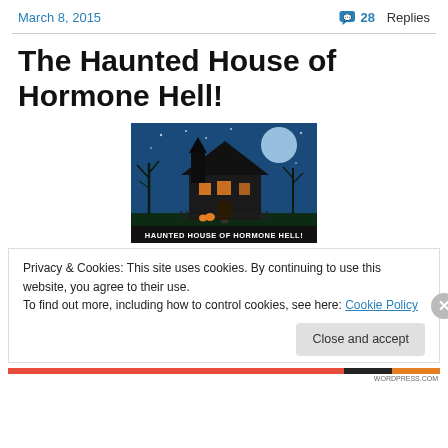March 8, 2015    💬 28 Replies
The Haunted House of Hormone Hell!
[Figure (illustration): Haunted house illustration at night with blue sky, moon, bare trees, glowing windows, and text reading 'HAUNTED HOUSE OF HORMONE HELL!']
Privacy & Cookies: This site uses cookies. By continuing to use this website, you agree to their use.
To find out more, including how to control cookies, see here: Cookie Policy
Close and accept